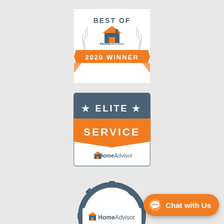[Figure (logo): HomeAdvisor Best of 2020 Winner award badge — white background with arched 'BEST OF' text, laurel wreath, HomeAdvisor logo with house icon, and orange banner reading '2020 WINNER']
[Figure (logo): HomeAdvisor Elite Service badge — dark grey top banner with star ELITE star text, orange ribbon banner reading 'SERVICE', white bottom section with HomeAdvisor logo]
[Figure (logo): HomeAdvisor Screened & Approved badge — circular gear/cog shaped badge with 'SCREENED &' on top arc, 'APPROVED' on bottom arc, HomeAdvisor logo in center]
[Figure (other): Orange rounded rectangle chat button with speech bubble icon and text 'Chat with Us']